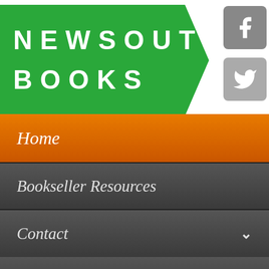[Figure (logo): NewSouth Books logo on green arrow-shaped banner with Facebook and Twitter social icons]
Home
Bookseller Resources
Contact
Collections
Search
Bohemia Beach